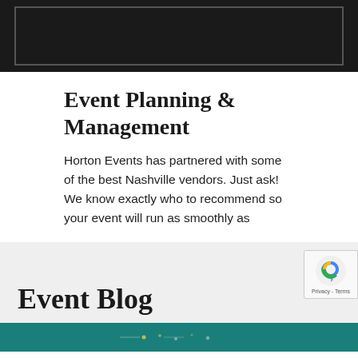[Figure (other): Dark header banner with a lighter bordered rectangle inset]
Event Planning & Management
Horton Events has partnered with some of the best Nashville vendors. Just ask! We know exactly who to recommend so your event will run as smoothly as
Event Blog
[Figure (photo): Teal/dark background strip at bottom, partially visible event photo]
[Figure (other): reCAPTCHA badge with Google logo and Privacy - Terms text]